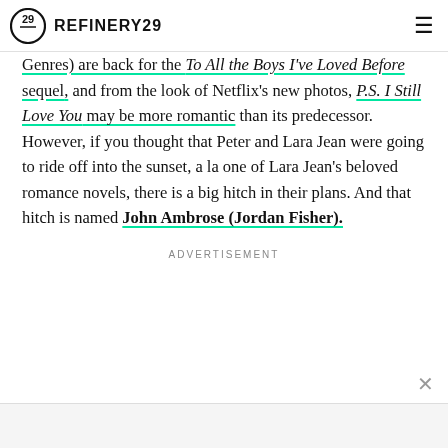REFINERY29
Genres) are back for the To All the Boys I've Loved Before sequel, and from the look of Netflix's new photos, P.S. I Still Love You may be more romantic than its predecessor. However, if you thought that Peter and Lara Jean were going to ride off into the sunset, a la one of Lara Jean's beloved romance novels, there is a big hitch in their plans. And that hitch is named John Ambrose (Jordan Fisher).
ADVERTISEMENT